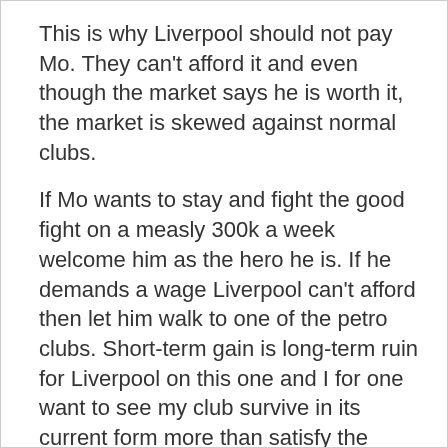This is why Liverpool should not pay Mo. They can't afford it and even though the market says he is worth it, the market is skewed against normal clubs.
If Mo wants to stay and fight the good fight on a measly 300k a week welcome him as the hero he is. If he demands a wage Liverpool can't afford then let him walk to one of the petro clubs. Short-term gain is long-term ruin for Liverpool on this one and I for one want to see my club survive in its current form more than satisfy the demands of one gifted player.
Dave LFC